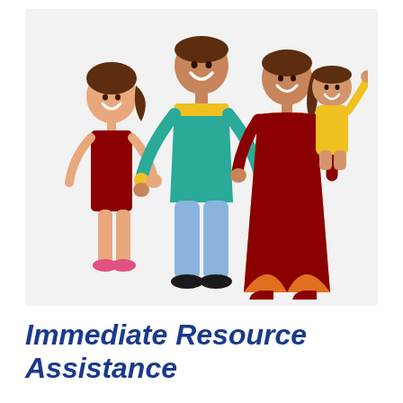[Figure (illustration): Cartoon illustration of a happy family of four: a tall man in teal shirt and blue jeans, a girl in a red dress holding his hand, a woman in orange and dark red dress holding a baby in a yellow outfit who is waving]
Immediate Resource Assistance